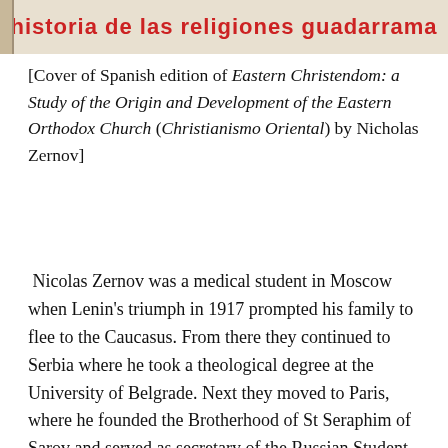[Figure (photo): Top portion of a book cover showing Spanish edition of Eastern Christendom, with red bold text 'historia de las Religiones guadarrama' on a beige/cream background with a decorative left border]
[Cover of Spanish edition of Eastern Christendom: a Study of the Origin and Development of the Eastern Orthodox Church (Christianismo Oriental) by Nicholas Zernov]
Nicolas Zernov was a medical student in Moscow when Lenin's triumph in 1917 prompted his family to flee to the Caucasus. From there they continued to Serbia where he took a theological degree at the University of Belgrade. Next they moved to Paris, where he founded the Brotherhood of St Seraphim of Sarov and served as secretary of the Russian Student Christian